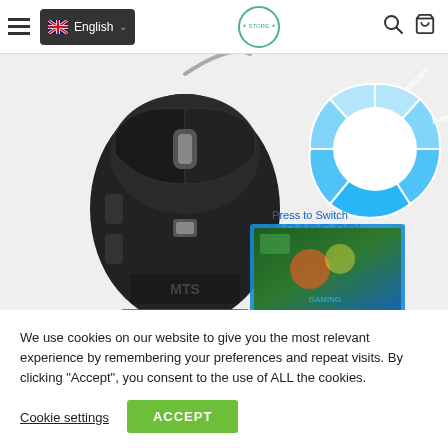English language selector, hamburger menu, logo, search and cart icons
[Figure (photo): Product page screenshot showing a black wired gaming mouse on the left and a circular DPI selector diagram on the right labeled 'Press to Switch 7 GRADE DPI' with segments showing 8200 DPI and 16400 DPI, plus a gaming monitor screen in the lower right corner.]
We use cookies on our website to give you the most relevant experience by remembering your preferences and repeat visits. By clicking "Accept", you consent to the use of ALL the cookies.
Cookie settings
ACCEPT